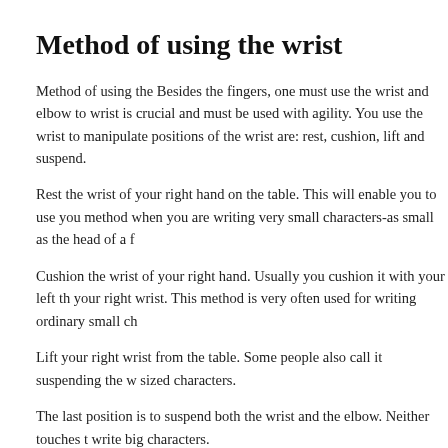Method of using the wrist
Method of using the Besides the fingers, one must use the wrist and elbow to wrist is crucial and must be used with agility. You use the wrist to manipulate positions of the wrist are: rest, cushion, lift and suspend.
Rest the wrist of your right hand on the table. This will enable you to use you method when you are writing very small characters-as small as the head of a f
Cushion the wrist of your right hand. Usually you cushion it with your left th your right wrist. This method is very often used for writing ordinary small ch
Lift your right wrist from the table. Some people also call it suspending the w sized characters.
The last position is to suspend both the wrist and the elbow. Neither touches t write big characters.
These four wrist positions are only relative. If you intend to raise your calligr must practice the suspended-wrist position from the very beginning. Would-b afraid of difficulty. They must acquire this basic skill.